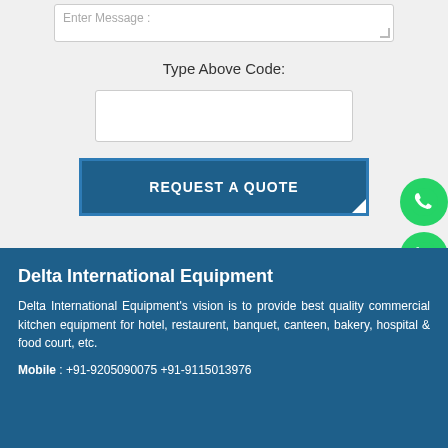Enter Message :
Type Above Code:
REQUEST A QUOTE
Delta International Equipment
Delta International Equipment's vision is to provide best quality commercial kitchen equipment for hotel, restaurent, banquet, canteen, bakery, hospital & food court, etc.
Mobile : +91-9205090075  +91-9115013976